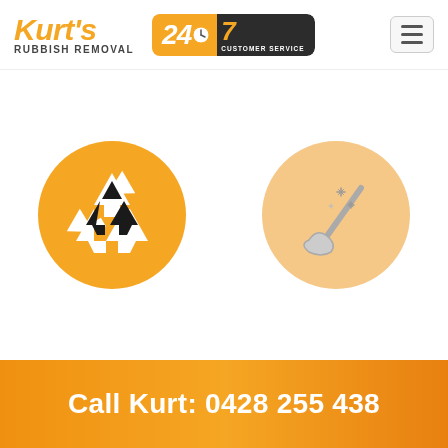Kurt's Rubbish Removal — 24/7 Customer Service
[Figure (illustration): Orange circle with recycling symbol (white arrows forming triangle) icon]
[Figure (illustration): Light orange circle with a broom/cleaning brush icon and sparkle stars]
Call Kurt: 0428 255 438